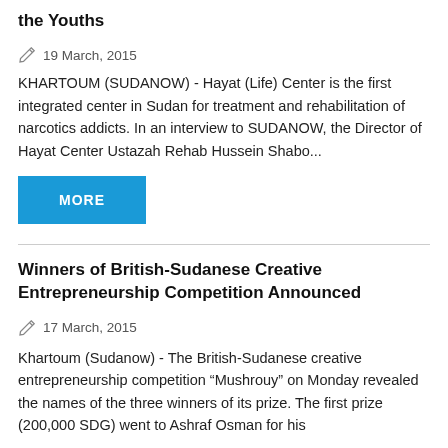the Youths
19 March, 2015
KHARTOUM (SUDANOW) - Hayat (Life) Center is the first integrated center in Sudan for treatment and rehabilitation of narcotics addicts. In an interview to SUDANOW, the Director of Hayat Center Ustazah Rehab Hussein Shabo...
MORE
Winners of British-Sudanese Creative Entrepreneurship Competition Announced
17 March, 2015
Khartoum (Sudanow) - The British-Sudanese creative entrepreneurship competition “Mushrouy” on Monday revealed the names of the three winners of its prize. The first prize (200,000 SDG) went to Ashraf Osman for his